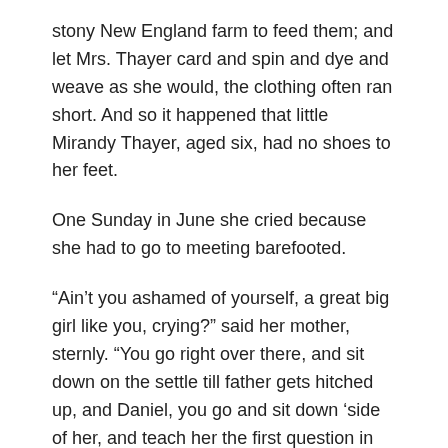stony New England farm to feed them; and let Mrs. Thayer card and spin and dye and weave as she would, the clothing often ran short. And so it happened that little Mirandy Thayer, aged six, had no shoes to her feet.
One Sunday in June she cried because she had to go to meeting barefooted.
“Ain’t you ashamed of yourself, a great big girl like you, crying?” said her mother, sternly. “You go right over there, and sit down on the settle till father gets hitched up, and Daniel, you go and sit down ‘side of her, and teach her the first question in the catechism. She’d ought to find out there’s something else to be thought about on the Sabbath day besides shoes.”
So Mirandy, sniffing between the solemn words, repeated them after Daniel, who was twelve years old, and knew his catechism quite thoroughly. And when the great farm wagon, with the team of